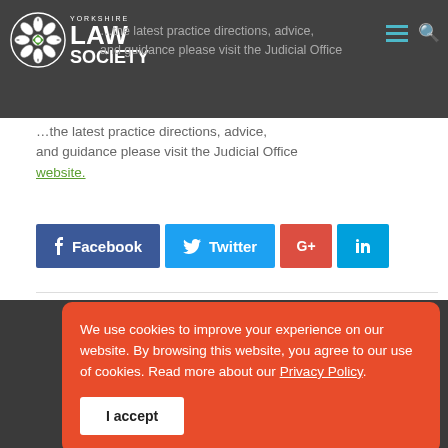Yorkshire Law Society
announcements
For the latest practice directions, advice, and guidance please visit the Judicial Office website.
[Figure (infographic): Social share buttons: Facebook, Twitter, Google+, LinkedIn]
We use cookies to improve your experience on our website. By browsing this website, you agree to our use of cookies. Read more about our Privacy Policy.
I accept